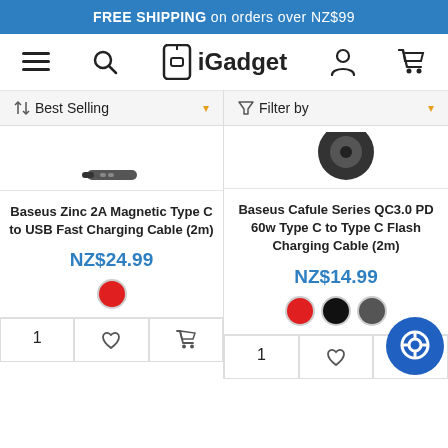FREE SHIPPING on orders over NZ$99
[Figure (screenshot): iGadget website navigation bar with hamburger menu, search icon, iGadget logo, user icon, and cart icon]
Best Selling ▾   Filter by ▾
[Figure (photo): Partial product image top - Baseus Zinc cable connector]
[Figure (photo): Partial product image top - dark circular cable end]
Baseus Zinc 2A Magnetic Type C to USB Fast Charging Cable (2m)
NZ$24.99
Baseus Cafule Series QC3.0 PD 60w Type C to Type C Flash Charging Cable (2m)
NZ$14.99